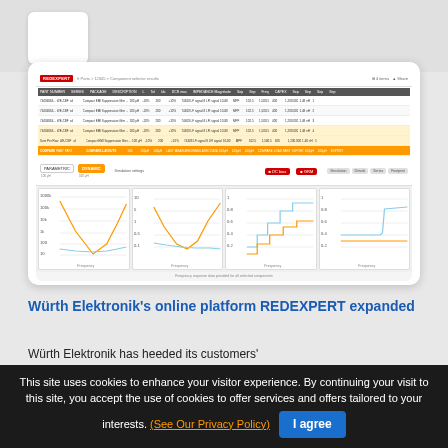[Figure (screenshot): Screenshot of Würth Elektronik REDEXPERT online platform showing a data table with component listings and four frequency-response line charts (impedance/inductance curves in orange and blue).]
Würth Elektronik's online platform REDEXPERT expanded
Würth Elektronik has heeded its customers'
This site uses cookies to enhance your visitor experience. By continuing your visit to this site, you accept the use of cookies to offer services and offers tailored to your interests. (See Our Privacy Policy)
I agree